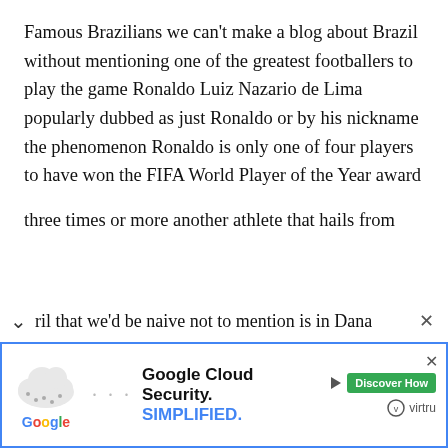Famous Brazilians we can't make a blog about Brazil without mentioning one of the greatest footballers to play the game Ronaldo Luiz Nazario de Lima popularly dubbed as just Ronaldo or by his nickname the phenomenon Ronaldo is only one of four players to have won the FIFA World Player of the Year award
three times or more another athlete that hails from
ril that we'd be naive not to mention is in Dana
[Figure (screenshot): Google Cloud Security advertisement banner with Google logo, cloud graphic, text 'Google Cloud Security. SIMPLIFIED.' in blue, and a green 'Discover How' button with Virtru logo]